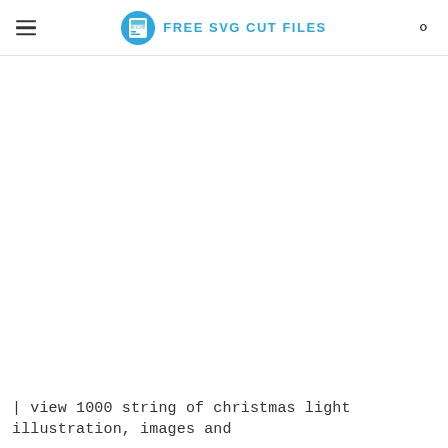FREE SVG CUT FILES
[Figure (illustration): Empty white content area below the site header]
| view 1000 string of christmas light illustration, images and